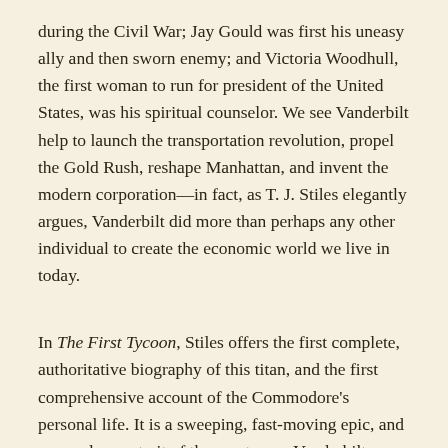during the Civil War; Jay Gould was first his uneasy ally and then sworn enemy; and Victoria Woodhull, the first woman to run for president of the United States, was his spiritual counselor. We see Vanderbilt help to launch the transportation revolution, propel the Gold Rush, reshape Manhattan, and invent the modern corporation—in fact, as T. J. Stiles elegantly argues, Vanderbilt did more than perhaps any other individual to create the economic world we live in today.
In The First Tycoon, Stiles offers the first complete, authoritative biography of this titan, and the first comprehensive account of the Commodore's personal life. It is a sweeping, fast-moving epic, and a complex portrait of the great man. Vanderbilt, Stiles shows, embraced the philosophy of the Jacksonian Democrats and withstood attacks by his conservative enemies for being too competitive. He was a visionary who pioneered business models. He was an unschooled fistfighter who came to command the respect of New York's social elite. And he was a father who struggled